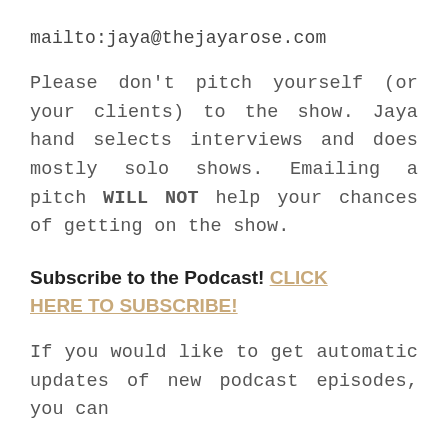mailto:jaya@thejayarose.com
Please don't pitch yourself (or your clients) to the show. Jaya hand selects interviews and does mostly solo shows. Emailing a pitch WILL NOT help your chances of getting on the show.
Subscribe to the Podcast! CLICK HERE TO SUBSCRIBE!
If you would like to get automatic updates of new podcast episodes, you can